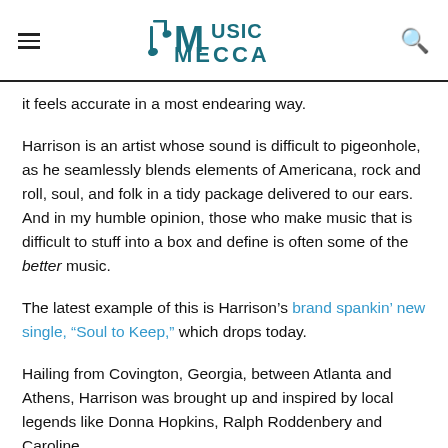Music Mecca
it feels accurate in a most endearing way.
Harrison is an artist whose sound is difficult to pigeonhole, as he seamlessly blends elements of Americana, rock and roll, soul, and folk in a tidy package delivered to our ears. And in my humble opinion, those who make music that is difficult to stuff into a box and define is often some of the better music.
The latest example of this is Harrison’s brand spankin’ new single, “Soul to Keep,” which drops today.
Hailing from Covington, Georgia, between Atlanta and Athens, Harrison was brought up and inspired by local legends like Donna Hopkins, Ralph Roddenbery and Caroline